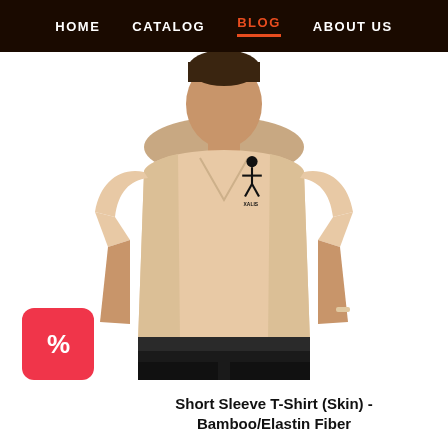HOME   CATALOG   BLOG   ABOUT US
[Figure (photo): A muscular man wearing a skin-colored (beige/nude) V-neck short sleeve t-shirt with a small black logo on the chest, paired with black fitted pants. White background product photo.]
Short Sleeve T-Shirt (Skin) - Bamboo/Elastin Fiber